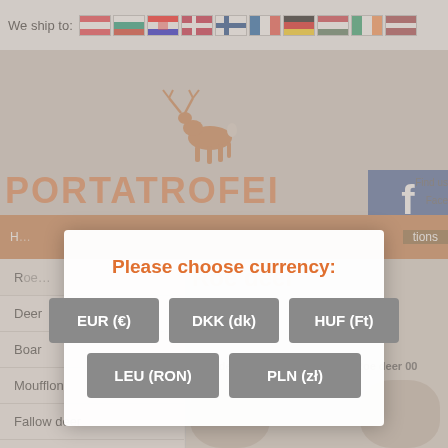We ship to: [flags: Austria, Bulgaria, Croatia, Denmark, Finland, France, Germany, Hungary, Ireland, Latvia]
[Figure (logo): Portatrofei website screenshot background with deer logo and brand name PORTATROFEI in orange]
Deer
Boar
Moufflon
Fallow deer
Fishes
Roe deer 001
Roe deer 00
Please choose currency:
EUR (€)
DKK (dk)
HUF (Ft)
LEU (RON)
PLN (zł)